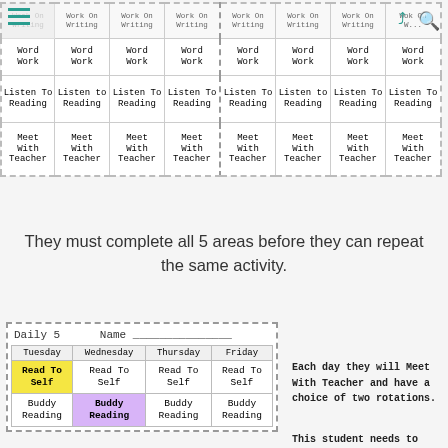| Work On Writing | Work On Writing | Work On Writing | Work On Writing | Work On Writing | Work On Writing | Work On Writing | Work On Writing |
| --- | --- | --- | --- | --- | --- | --- | --- |
| Word Work | Word Work | Word Work | Word Work | Word Work | Word Work | Word Work | Word Work |
| Listen To Reading | Listen to Reading | Listen To Reading | Listen To Reading | Listen To Reading | Listen to Reading | Listen To Reading | Listen To Reading |
| Meet With Teacher | Meet With Teacher | Meet With Teacher | Meet With Teacher | Meet With Teacher | Meet With Teacher | Meet With Teacher | Meet With Teacher |
They must complete all 5 areas before they can repeat the same activity.
| Daily 5 | Name _______________ |
| --- | --- |
| Tuesday | Wednesday | Thursday | Friday |
| Read To Self | Read To Self | Read To Self | Read To Self |
| Buddy Reading | Buddy Reading | Buddy Reading | Buddy Reading |
Each day they will Meet With Teacher and have a choice of two rotations.
This student needs to